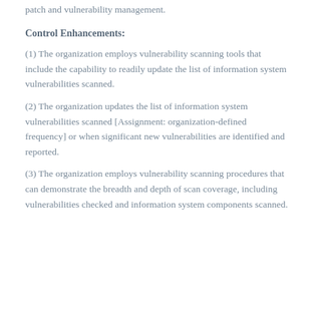patch and vulnerability management.
Control Enhancements:
(1) The organization employs vulnerability scanning tools that include the capability to readily update the list of information system vulnerabilities scanned.
(2) The organization updates the list of information system vulnerabilities scanned [Assignment: organization-defined frequency] or when significant new vulnerabilities are identified and reported.
(3) The organization employs vulnerability scanning procedures that can demonstrate the breadth and depth of scan coverage, including vulnerabilities checked and information system components scanned.